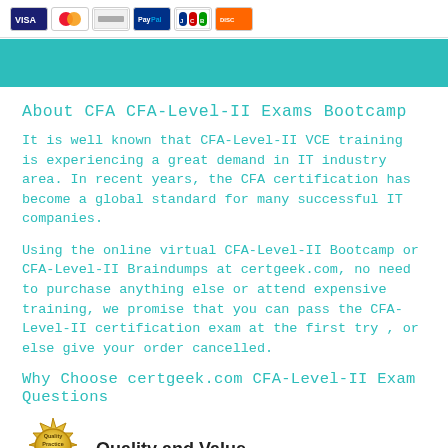[Figure (logo): Payment icons: Visa, Mastercard, and other credit card logos in the top bar]
About CFA CFA-Level-II Exams Bootcamp
It is well known that CFA-Level-II VCE training is experiencing a great demand in IT industry area. In recent years, the CFA certification has become a global standard for many successful IT companies.
Using the online virtual CFA-Level-II Bootcamp or CFA-Level-II Braindumps at certgeek.com, no need to purchase anything else or attend expensive training, we promise that you can pass the CFA-Level-II certification exam at the first try , or else give your order cancelled.
Why Choose certgeek.com CFA-Level-II Exam Questions
[Figure (logo): Quality Practice Exams circular gold badge/seal]
Quality and Value
certgeek.com Practice Exams for CFA-Level-II